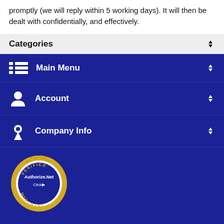promptly (we will reply within 5 working days). It will then be dealt with confidentially, and effectively.
Categories
Main Menu
Account
Company Info
[Figure (logo): Authorize.Net Verified Merchant seal/badge in gold and blue]
© 2022 MRI Med, all rights reserved worldwide.